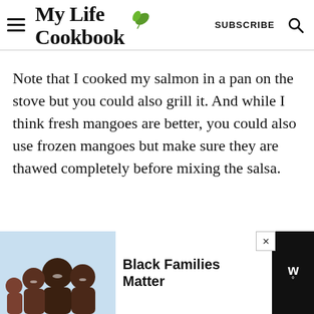My Life Cookbook — SUBSCRIBE
Note that I cooked my salmon in a pan on the stove but you could also grill it. And while I think fresh mangoes are better, you could also use frozen mangoes but make sure they are thawed completely before mixing the salsa.
[Figure (screenshot): Advertisement banner: Black Families Matter with image of smiling family, close buttons, and CNN logo]